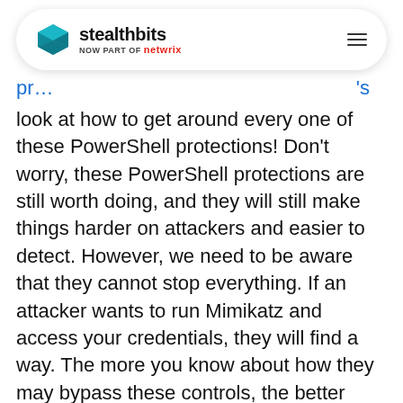stealthbits NOW PART OF netwrix
protections... 's look at how to get around every one of these PowerShell protections! Don't worry, these PowerShell protections are still worth doing, and they will still make things harder on attackers and easier to detect. However, we need to be aware that they cannot stop everything. If an attacker wants to run Mimikatz and access your credentials, they will find a way. The more you know about how they may bypass these controls, the better prepared you will be. With that in mind, let's take a look at a few interesting ways that attackers are able to get around native protections when looking to